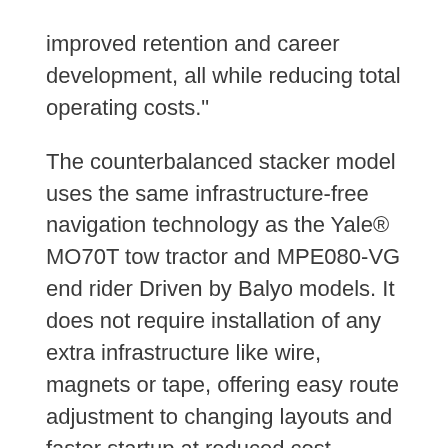improved retention and career development, all while reducing total operating costs."
The counterbalanced stacker model uses the same infrastructure-free navigation technology as the Yale® MO70T tow tractor and MPE080-VG end rider Driven by Balyo models. It does not require installation of any extra infrastructure like wire, magnets or tape, offering easy route adjustment to changing layouts and faster startup at reduced cost compared to traditional automated guided vehicles.
To view a hi-res image, click here.